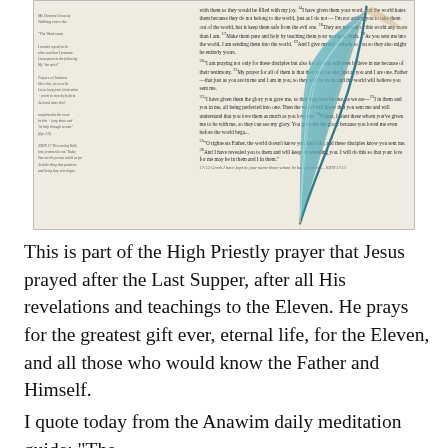[Figure (photo): Photo of a Bible page with handwritten notes in the margins and a teal/blue watercolor feather illustration overlaid on the right side of the page. The Bible text visible includes passages from John 17.]
This is part of the High Priestly prayer that Jesus prayed after the Last Supper, after all His revelations and teachings to the Eleven. He prays for the greatest gift ever, eternal life, for the Eleven, and all those who would know the Father and Himself.
I quote today from the Anawim daily meditation guide: "The